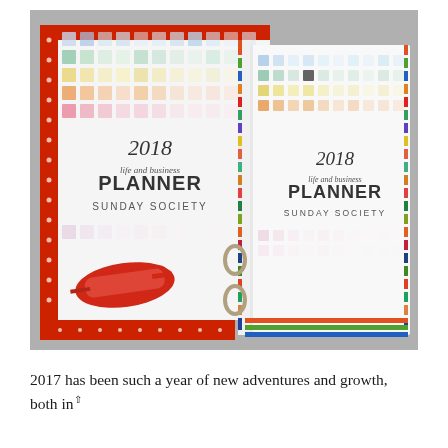[Figure (photo): Two '2018 Life and Business Planner – Sunday Society' binders with colorful watercolor square pattern covers, one with red polka-dot binding, with red glasses resting on top.]
2017 has been such a year of new adventures and growth, both in